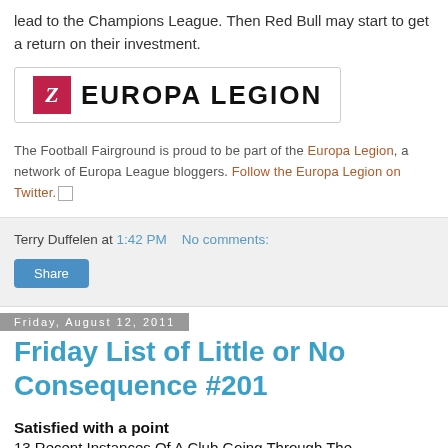lead to the Champions League. Then Red Bull may start to get a return on their investment.
[Figure (logo): Europa Legion logo: pink/red square icon with italic Z letter, followed by bold uppercase text EUROPA LEGION]
The Football Fairground is proud to be part of the Europa Legion, a network of Europa League bloggers. Follow the Europa Legion on Twitter.
Terry Duffelen at 1:42 PM   No comments:
Share
Friday, August 12, 2011
Friday List of Little or No Consequence #201
Satisfied with a point
13 Recent Instances Of A Club Going Through The